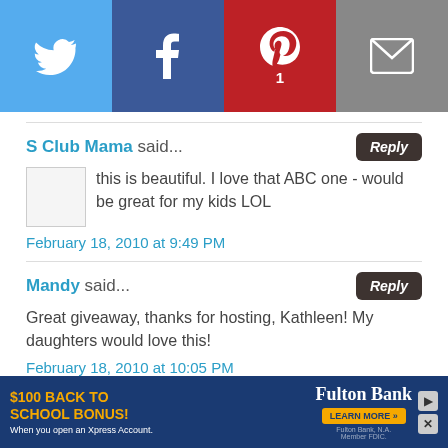[Figure (infographic): Social sharing bar with Twitter (blue), Facebook (dark blue), Pinterest (red, count 1), and Email (grey) buttons]
S Club Mama said...
this is beautiful. I love that ABC one - would be great for my kids LOL
February 18, 2010 at 9:49 PM
Mandy said...
Great giveaway, thanks for hosting, Kathleen! My daughters would love this!
February 18, 2010 at 10:05 PM
Jane said...
[Figure (screenshot): Ad banner: $100 BACK TO SCHOOL BONUS! Fulton Bank. When you open an Xpress Account. LEARN MORE button.]